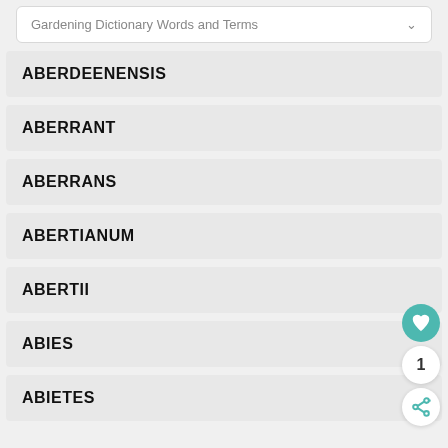Gardening Dictionary Words and Terms
ABERDEENENSIS
ABERRANT
ABERRANS
ABERTIANUM
ABERTII
ABIES
ABIETES